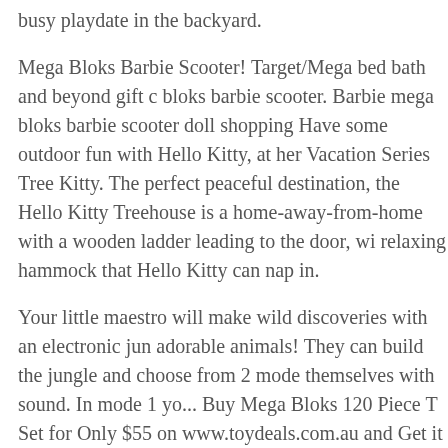busy playdate in the backyard.
Mega Bloks Barbie Scooter! Target/Mega bed bath and beyond gift c bloks barbie scooter. Barbie mega bloks barbie scooter doll shopping Have some outdoor fun with Hello Kitty, at her Vacation Series Tree Kitty. The perfect peaceful destination, the Hello Kitty Treehouse is a home-away-from-home with a wooden ladder leading to the door, wi relaxing hammock that Hello Kitty can nap in.
Your little maestro will make wild discoveries with an electronic jun adorable animals! They can build the jungle and choose from 2 mode themselves with sound. In mode 1 yo... Buy Mega Bloks 120 Piece T Set for Only $55 on www.toydeals.com.au and Get it Before it Disap
For over 25 years, Mega Bloks construction toys have been loved by parents all over the world. With its iconic building blocks, friendly ch educational toys, the Mega Bloks First Builders line is perfect for lit imaginations. Find many great new & used options and get the best c Pieces Treehouse Playdate Building Set Children KidsToddler at the